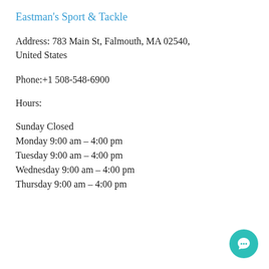Eastman's Sport & Tackle
Address: 783 Main St, Falmouth, MA 02540, United States
Phone:+1 508-548-6900
Hours:
Sunday Closed
Monday 9:00 am – 4:00 pm
Tuesday 9:00 am – 4:00 pm
Wednesday 9:00 am – 4:00 pm
Thursday 9:00 am – 4:00 pm